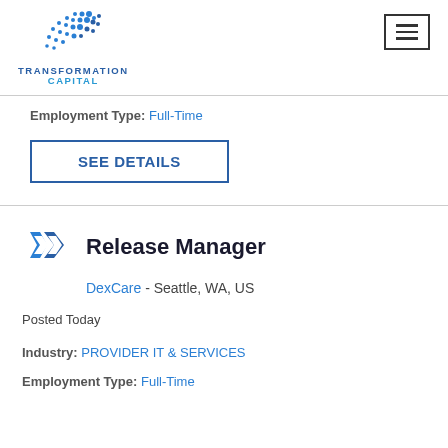TRANSFORMATION CAPITAL
Employment Type: Full-Time
SEE DETAILS
Release Manager
DexCare - Seattle, WA, US
Posted Today
Industry: PROVIDER IT & SERVICES
Employment Type: Full-Time